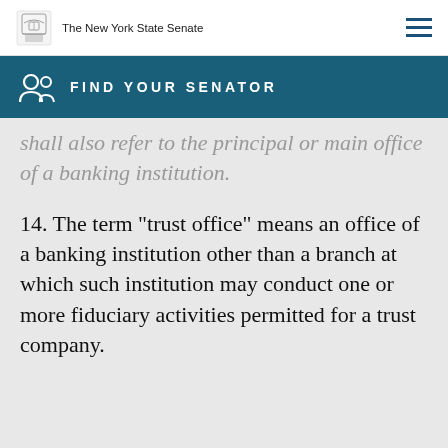The New York State Senate
FIND YOUR SENATOR
shall also refer to the principal or main office of a banking institution.
14. The term "trust office" means an office of a banking institution other than a branch at which such institution may conduct one or more fiduciary activities permitted for a trust company.